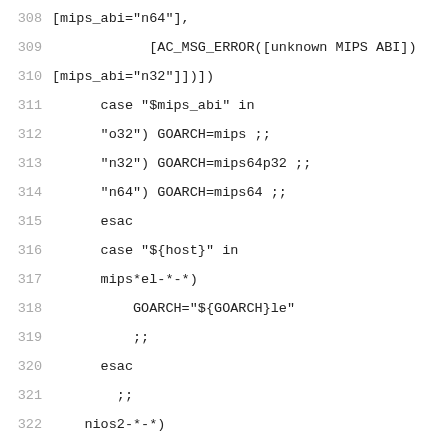308  [mips_abi="n64"],
309          [AC_MSG_ERROR([unknown MIPS ABI])
310  [mips_abi="n32"]])])
311      case "$mips_abi" in
312      "o32") GOARCH=mips ;;
313      "n32") GOARCH=mips64p32 ;;
314      "n64") GOARCH=mips64 ;;
315      esac
316      case "${host}" in
317      mips*el-*-*)
318          GOARCH="${GOARCH}le"
319          ;;
320      esac
321        ;;
322    nios2-*-*)
323        GOARCH=nios2
324        ;;
325    rs6000*-*-* | powerpc*-*-*)
326        AC_COMPILE_IFELSE([AC_LANG_SOURCE([
327  #ifdef _ARCH_PPC64
328  #error 64-bit
329  #endif